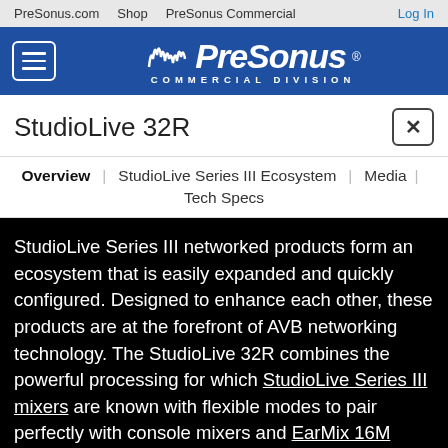PreSonus.com  Shop  PreSonus Commercial  Log In
[Figure (logo): PreSonus Commercial Division logo on blue background with hamburger menu button]
StudioLive 32R
Overview | StudioLive Series III Ecosystem | Media | Tech Specs
StudioLive Series III networked products form an ecosystem that is easily expanded and quickly configured. Designed to enhance each other, these products are at the forefront of AVB networking technology. The StudioLive 32R combines the powerful processing for which StudioLive Series III mixers are known with flexible modes to pair perfectly with console mixers and EarMix 16M personal monitoring mixers. Whether used standalone as a digital mixer and audio interface, or